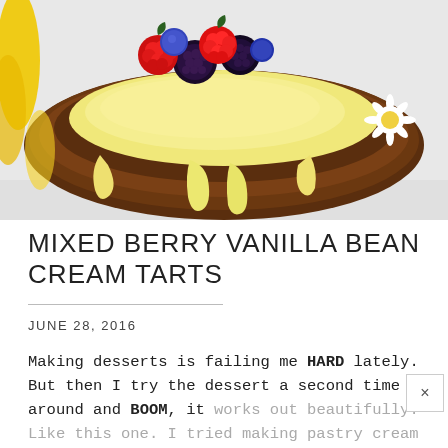[Figure (photo): A mixed berry vanilla bean cream tart with golden pastry cream filling overflowing the fluted chocolate-brown tart shell, topped with raspberries, blackberries, and blueberries, with yellow flowers and a daisy in the background]
MIXED BERRY VANILLA BEAN CREAM TARTS
JUNE 28, 2016
Making desserts is failing me HARD lately. But then I try the dessert a second time around and BOOM, it works out beautifully. Like this one. I tried making pastry cream for the first time and it sucked bad. It